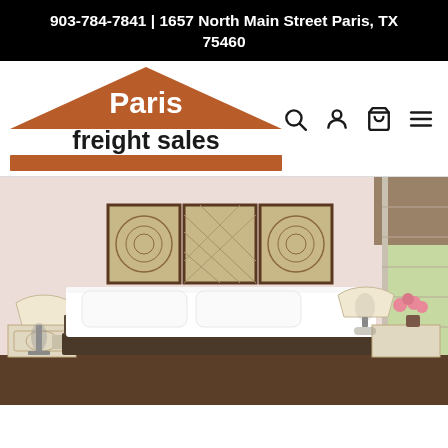903-784-7841 | 1657 North Main Street Paris, TX 75460
[Figure (logo): Paris freight sales logo with house/roof shape in orange-brown, bold white text 'Paris' on roof, bold dark text 'freight sales' below, orange bar at bottom]
[Figure (photo): Bedroom scene showing a white mattress/bed with pillows, two white nightstands with lamps, a triptych of framed wall art above the headboard area, and a window on the right side. Room has light pink/blush walls.]